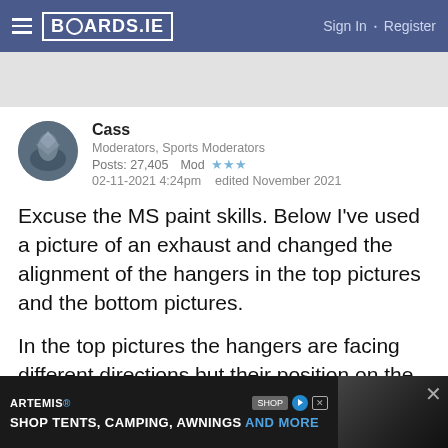BOARDS.IE — Sign In · Register
[Figure (other): Gray advertisement banner placeholder at top]
Cass
Moderators, Sports Moderators
Posts: 27,405   Mod ★★★
02-11-2021 4:24pm   edited November 2021
Excuse the MS paint skills. Below I've used a picture of an exhaust and changed the alignment of the hangers in the top pictures and the bottom pictures.
In the top pictures the hangers are facing different directions but their position on the exhaust means they will still hang from the rubbers.
[Figure (screenshot): Advertisement banner: ARTEMIS — SHOP TENTS, CAMPING, AWNINGS AND MORE]